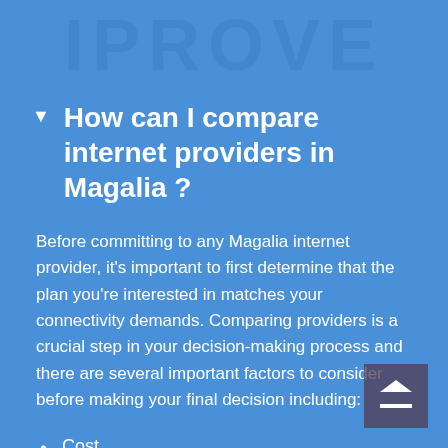[Figure (other): Faded watermark text reading 'IPROVE' or similar large letters in a darker blue across the top of the page]
How can I compare internet providers in Magalia ?
Before committing to any Magalia internet provider, it's important to first determine that the plan you're interested in matches your connectivity demands. Comparing providers is a crucial step in your decision-making process and there are several important factors to consider before making your final decision including:
Cost